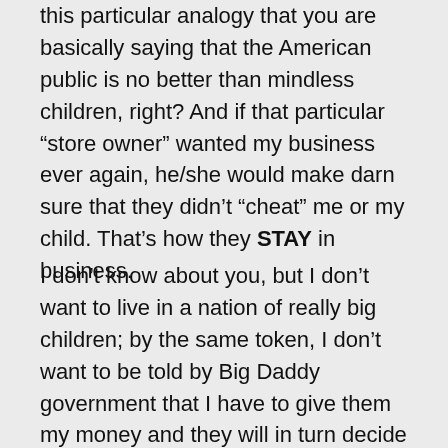this particular analogy that you are basically saying that the American public is no better than mindless children, right? And if that particular “store owner” wanted my business ever again, he/she would make darn sure that they didn’t “cheat” me or my child. That’s how they STAY in business.
I don’t know about you, but I don’t want to live in a nation of really big children; by the same token, I don’t want to be told by Big Daddy government that I have to give them my money and they will in turn decide how much of it they are